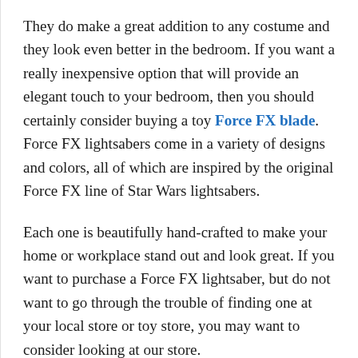They do make a great addition to any costume and they look even better in the bedroom. If you want a really inexpensive option that will provide an elegant touch to your bedroom, then you should certainly consider buying a toy Force FX blade. Force FX lightsabers come in a variety of designs and colors, all of which are inspired by the original Force FX line of Star Wars lightsabers.
Each one is beautifully hand-crafted to make your home or workplace stand out and look great. If you want to purchase a Force FX lightsaber, but do not want to go through the trouble of finding one at your local store or toy store, you may want to consider looking at our store.
All you need to do is look up the Force FX lightsabers and follow the simple directions for ordering. We